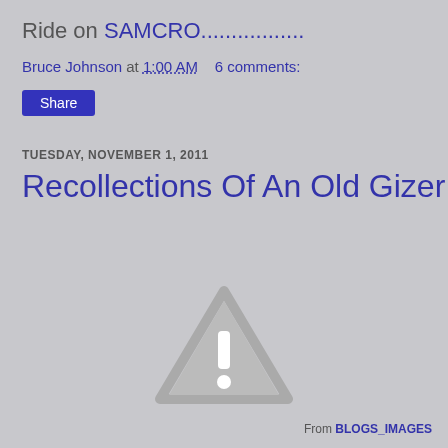Ride on SAMCRO.................
Bruce Johnson at 1:00 AM    6 comments:
Share
TUESDAY, NOVEMBER 1, 2011
Recollections Of An Old Gizer
[Figure (illustration): Warning triangle icon with exclamation mark, gray color]
From BLOGS_IMAGES